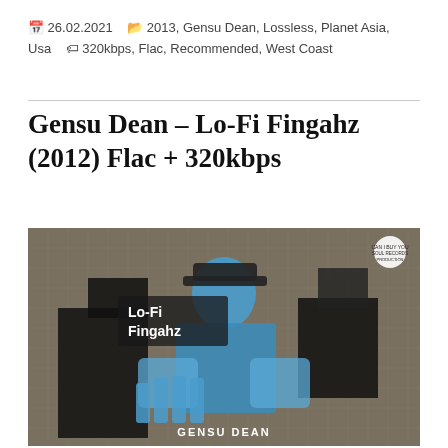📅 26.02.2021  🗂 2013, Gensu Dean, Lossless, Planet Asia, Usa  🏷 320kbps, Flac, Recommended, West Coast
Gensu Dean – Lo-Fi Fingahz (2012) Flac + 320kbps
[Figure (photo): Album cover art for Gensu Dean – Lo-Fi Fingahz. Dark grey textured background with a blue-tinted figure in a cap making hand gestures, with 'Lo-Fi Fingahz' text and 'GENSU DEAN' branding visible. A record label logo appears in the top right corner.]